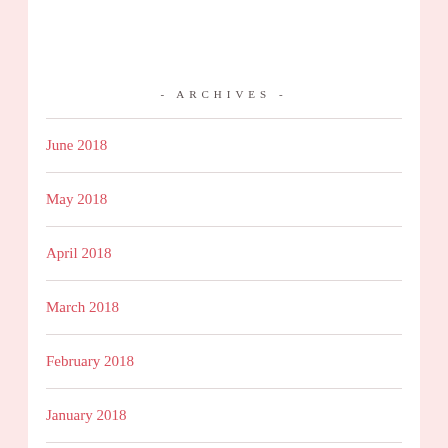- ARCHIVES -
June 2018
May 2018
April 2018
March 2018
February 2018
January 2018
December 2017